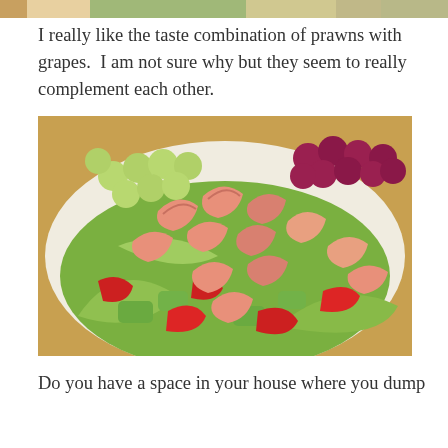[Figure (photo): Partial strip of a food photo visible at very top of page]
I really like the taste combination of prawns with grapes.  I am not sure why but they seem to really complement each other.
[Figure (photo): A plate of salad with cooked prawns/shrimp, green and red grapes, red bell pepper pieces, cucumber, and lettuce leaves on a white plate on a wooden surface]
Do you have a space in your house where you dump